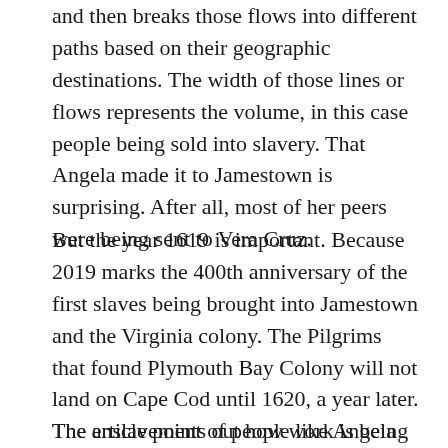and then breaks those flows into different paths based on their geographic destinations. The width of those lines or flows represents the volume, in this case people being sold into slavery. That Angela made it to Jamestown is surprising. After all, most of her peers were being sent to Vera Cruz.
But the year 1619 is important. Because 2019 marks the 400th anniversary of the first slaves being brought into Jamestown and the Virginia colony. The Pilgrims that found Plymouth Bay Colony will not land on Cape Cod until 1620, a year later. The enslavement of people like Angela was built into the foundation of the American colonies.
The article points out how work is being done to